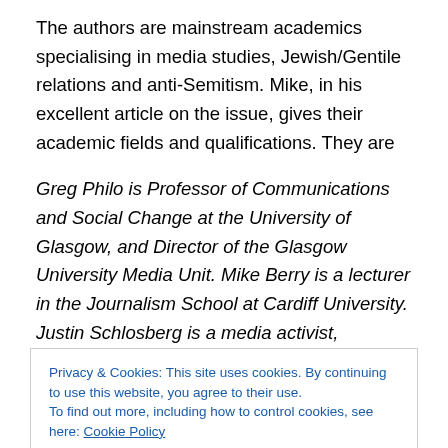The authors are mainstream academics specialising in media studies, Jewish/Gentile relations and anti-Semitism. Mike, in his excellent article on the issue, gives their academic fields and qualifications. They are
Greg Philo is Professor of Communications and Social Change at the University of Glasgow, and Director of the Glasgow University Media Unit. Mike Berry is a lecturer in the Journalism School at Cardiff University. Justin Schlosberg is a media activist, researcher and lecturer in Journalism and Media at Birkbeck College, University of
Privacy & Cookies: This site uses cookies. By continuing to use this website, you agree to their use.
To find out more, including how to control cookies, see here: Cookie Policy
Close and accept
Jewish/non- Jewish Relations at Southampton University